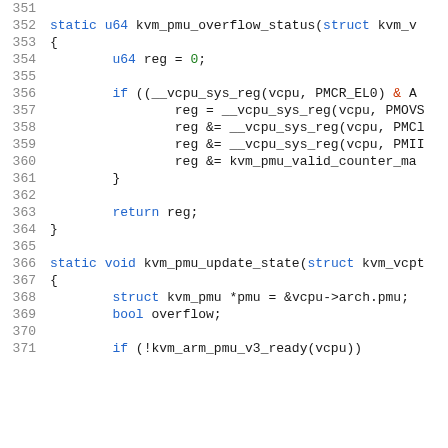Source code listing, lines 351-371, showing kvm_pmu_overflow_status and kvm_pmu_update_state functions in C